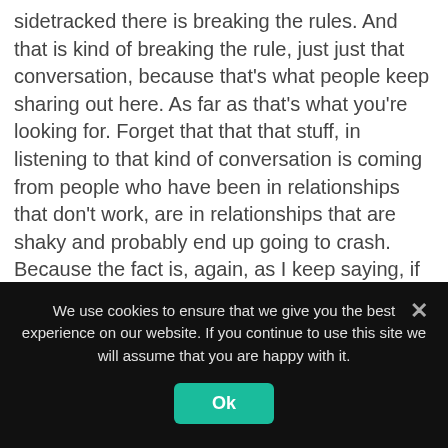sidetracked there is breaking the rules. And that is kind of breaking the rule, just just that conversation, because that's what people keep sharing out here. As far as that's what you're looking for. Forget that that that stuff, in listening to that kind of conversation is coming from people who have been in relationships that don't work, are in relationships that are shaky and probably end up going to crash. Because the fact is, again, as I keep saying, if you focus on the external stuff, it's only time before that relationship will fall apart because external things change, external things break, external things disappear. And if that's what your relationship is set
We use cookies to ensure that we give you the best experience on our website. If you continue to use this site we will assume that you are happy with it.